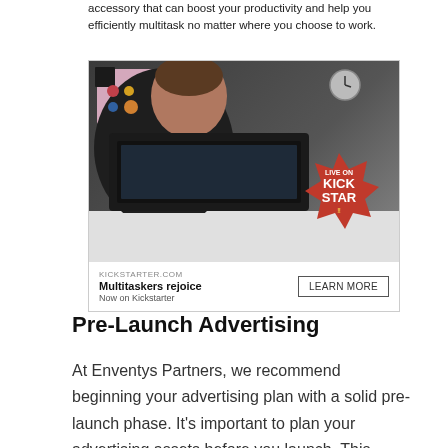accessory that can boost your productivity and help you efficiently multitask no matter where you choose to work.
[Figure (screenshot): Kickstarter advertisement showing a man working at a laptop with a 'Live on Kickstarter' badge, with ad footer showing KICKSTARTER.COM, 'Multitaskers rejoice', 'Now on Kickstarter', and a 'LEARN MORE' button.]
Pre-Launch Advertising
At Enventys Partners, we recommend beginning your advertising plan with a solid pre-launch phase. It's important to plan your advertising assets before you launch. This means taking high-quality product and lifestyle images andshots of your product